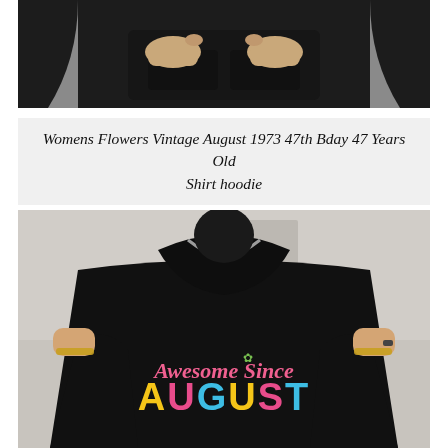[Figure (photo): Person wearing a black hoodie with hands in front pocket, torso view only, gray wall background]
Womens Flowers Vintage August 1973 47th Bday 47 Years Old Shirt hoodie
[Figure (photo): Person holding up a black hoodie/shirt displaying the text 'Awesome Since August' in colorful script and bold lettering. Person wears gold jewelry and a ring.]